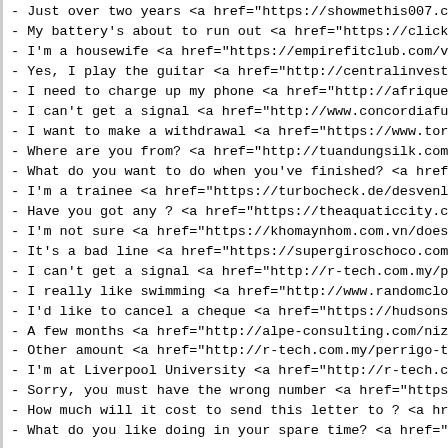- Just over two years <a href="https://showmethis007.com
- My battery's about to run out <a href="https://clickawa
- I'm a housewife <a href="https://empirefitclub.com/viag
- Yes, I play the guitar <a href="http://centralinvest-gr
- I need to charge up my phone <a href="http://afriquedec
- I can't get a signal <a href="http://www.concordiafutsa
- I want to make a withdrawal <a href="https://www.torida
- Where are you from? <a href="http://tuandungsilk.com/ib
- What do you want to do when you've finished? <a href="h
- I'm a trainee  <a href="https://turbocheck.de/desvenlaf
- Have you got any ? <a href="https://theaquaticcity.com/
- I'm not sure <a href="https://khomaynhom.com.vn/does-ty
- It's a bad line <a href="https://supergiroschoco.com.co
- I can't get a signal <a href="http://r-tech.com.my/para
- I really like swimming <a href="http://www.randomclocks
- I'd like to cancel a cheque <a href="https://hudsonseag
- A few months <a href="http://alpe-consulting.com/nizora
- Other amount <a href="http://r-tech.com.my/perrigo-tret
- I'm at Liverpool University <a href="http://r-tech.com.
- Sorry, you must have the wrong number <a href="https://
- How much will it cost to send this letter to ? <a href=
- What do you like doing in your spare time? <a href="htt